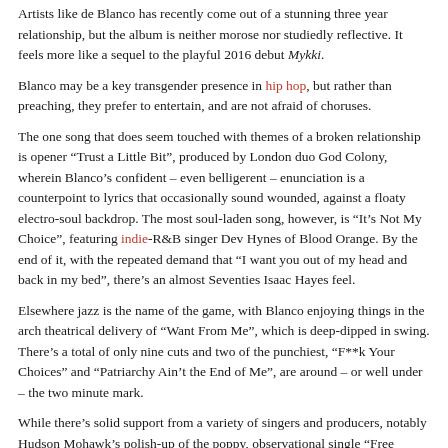Artists like de Blanco has recently come out of a stunning three year relationship, but the album is neither morose nor studiedly reflective. It feels more like a sequel to the playful 2016 debut Mykki.
Blanco may be a key transgender presence in hip hop, but rather than preaching, they prefer to entertain, and are not afraid of choruses.
The one song that does seem touched with themes of a broken relationship is opener “Trust a Little Bit”, produced by London duo God Colony, wherein Blanco’s confident – even belligerent – enunciation is a counterpoint to lyrics that occasionally sound wounded, against a floaty electro-soul backdrop. The most soul-laden song, however, is “It’s Not My Choice”, featuring indie-R&B singer Dev Hynes of Blood Orange. By the end of it, with the repeated demand that “I want you out of my head and back in my bed”, there’s an almost Seventies Isaac Hayes feel.
Elsewhere jazz is the name of the game, with Blanco enjoying things in the arch theatrical delivery of “Want From Me”, which is deep-dipped in swing. There’s a total of only nine cuts and two of the punchiest, “F**k Your Choices” and “Patriarchy Ain’t the End of Me”, are around – or well under – the two minute mark.
While there’s solid support from a variety of singers and producers, notably Hudson Mohawk’s polish-up of the poppy, observational single “Free Ride”, perhaps the two best songs are the pair where Blanco